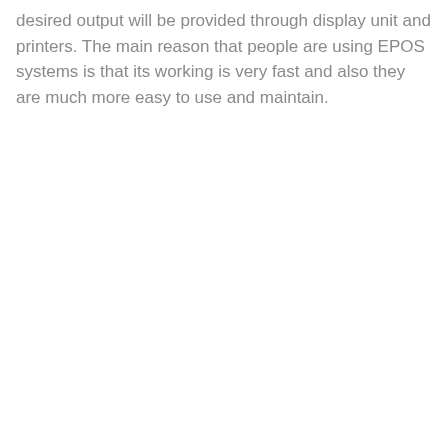desired output will be provided through display unit and printers. The main reason that people are using EPOS systems is that its working is very fast and also they are much more easy to use and maintain.